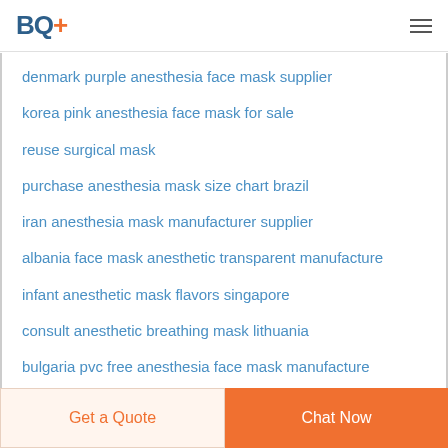BQ+
denmark purple anesthesia face mask supplier
korea pink anesthesia face mask for sale
reuse surgical mask
purchase anesthesia mask size chart brazil
iran anesthesia mask manufacturer supplier
albania face mask anesthetic transparent manufacture
infant anesthetic mask flavors singapore
consult anesthetic breathing mask lithuania
bulgaria pvc free anesthesia face mask manufacture
ambu king systems noblesville
panama pvc free anesthesia face mask supplier